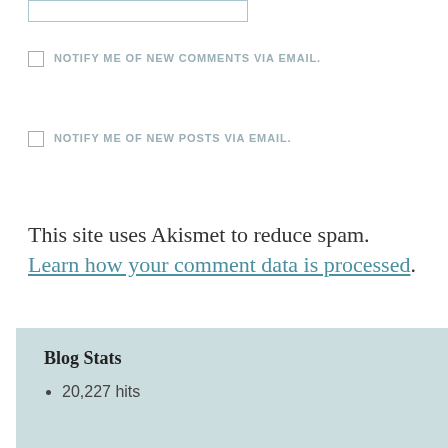[input box]
NOTIFY ME OF NEW COMMENTS VIA EMAIL.
NOTIFY ME OF NEW POSTS VIA EMAIL.
This site uses Akismet to reduce spam. Learn how your comment data is processed.
Blog Stats
20,227 hits